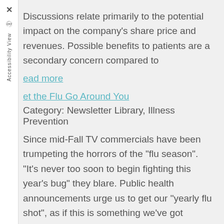Discussions relate primarily to the potential impact on the company's share price and revenues. Possible benefits to patients are a secondary concern compared to
Read more
et the Flu Go Around You
Category: Newsletter Library, Illness Prevention
Since mid-Fall TV commercials have been trumpeting the horrors of the "flu season". "It's never too soon to begin fighting this year's bug" they blare. Public health announcements urge us to get our "yearly flu shot", as if this is something we've got permanently scheduled in our Blackberries. All the